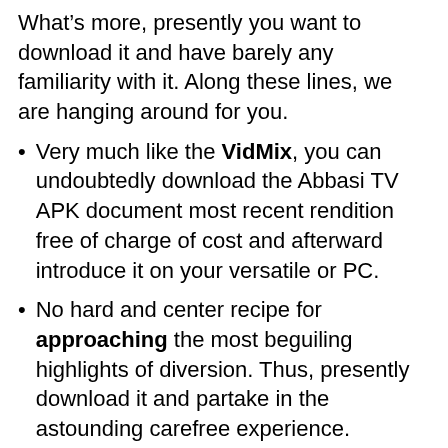What’s more, presently you want to download it and have barely any familiarity with it. Along these lines, we are hanging around for you.
Very much like the VidMix, you can undoubtedly download the Abbasi TV APK document most recent rendition free of charge of cost and afterward introduce it on your versatile or PC.
No hard and center recipe for approaching the most beguiling highlights of diversion. Thus, presently download it and partake in the astounding carefree experience.
Try not to pass up on the astounding opportunity to satisfy your diversion wants and partake in your #1 films and shows anyplace. Thus, download it